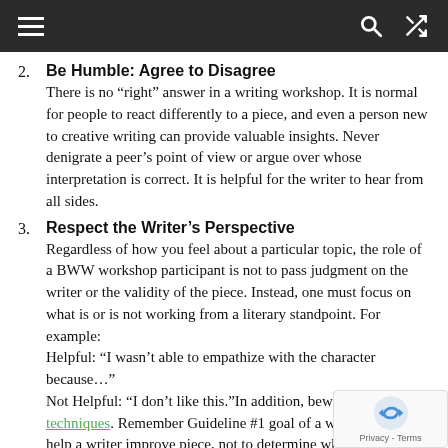Navigation bar with hamburger menu, search and shuffle icons
2. Be Humble: Agree to Disagree
There is no “right” answer in a writing workshop. It is normal for people to react differently to a piece, and even a person new to creative writing can provide valuable insights. Never denigrate a peer’s point of view or argue over whose interpretation is correct. It is helpful for the writer to hear from all sides.
3. Respect the Writer’s Perspective
Regardless of how you feel about a particular topic, the role of a BWW workshop participant is not to pass judgment on the writer or the validity of the piece. Instead, one must focus on what is or is not working from a literary standpoint. For example:
Helpful: “I wasn’t able to empathize with the character because…”
Not Helpful: “I don’t like this.”In addition, beware of silencing techniques. Remember Guideline #1 goal of a workshop is to help a writer improve piece, not to determine what s/he should write about.